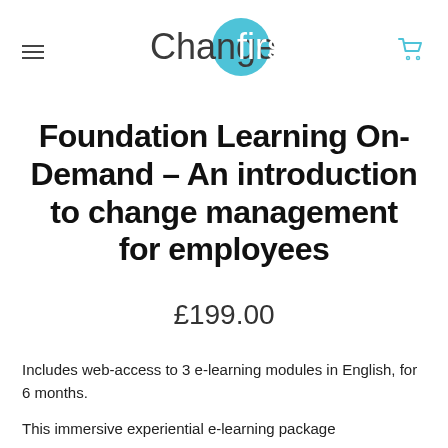Changefirst
Foundation Learning On-Demand – An introduction to change management for employees
£199.00
Includes web-access to 3 e-learning modules in English, for 6 months.
This immersive experiential e-learning package